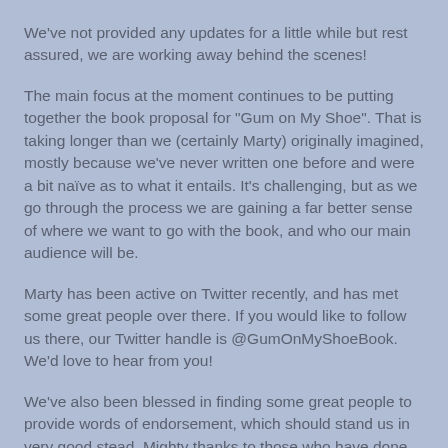We've not provided any updates for a little while but rest assured, we are working away behind the scenes!
The main focus at the moment continues to be putting together the book proposal for "Gum on My Shoe". That is taking longer than we (certainly Marty) originally imagined, mostly because we've never written one before and were a bit naïve as to what it entails. It's challenging, but as we go through the process we are gaining a far better sense of where we want to go with the book, and who our main audience will be.
Marty has been active on Twitter recently, and has met some great people over there. If you would like to follow us there, our Twitter handle is @GumOnMyShoeBook. We'd love to hear from you!
We've also been blessed in finding some great people to provide words of endorsement, which should stand us in very good stead. Mighty thanks to those who have done so, or have said they might!